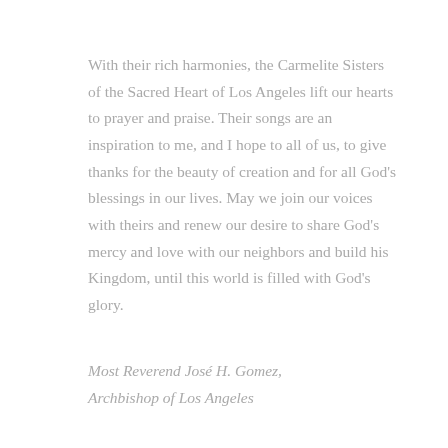With their rich harmonies, the Carmelite Sisters of the Sacred Heart of Los Angeles lift our hearts to prayer and praise. Their songs are an inspiration to me, and I hope to all of us, to give thanks for the beauty of creation and for all God's blessings in our lives. May we join our voices with theirs and renew our desire to share God's mercy and love with our neighbors and build his Kingdom, until this world is filled with God's glory.
Most Reverend José H. Gomez, Archbishop of Los Angeles